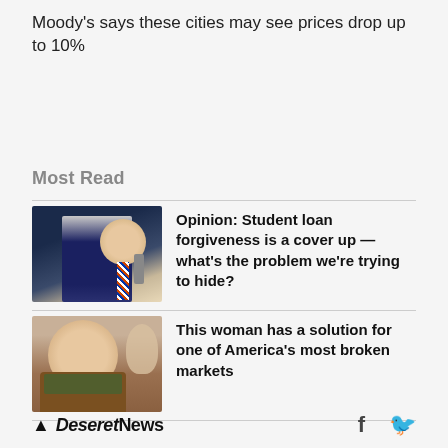Moody's says these cities may see prices drop up to 10%
Most Read
[Figure (photo): Photo of a man in a dark suit speaking at a podium with a microphone, appearing to be at a formal event.]
Opinion: Student loan forgiveness is a cover up — what's the problem we're trying to hide?
[Figure (photo): Photo of a smiling woman outdoors, wearing a brown jacket and green scarf, with an animal visible in background.]
This woman has a solution for one of America's most broken markets
Deseret News